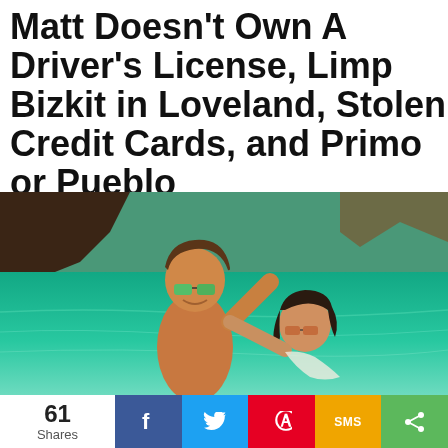Matt Doesn't Own A Driver's License, Limp Bizkit in Loveland, Stolen Credit Cards, and Primo or Pueblo
[Figure (photo): Two young people swimming in tropical turquoise water with rocky cliffs in background and warm sunlight. Man wearing green sunglasses smiling, woman with sunglasses next to him.]
61 Shares